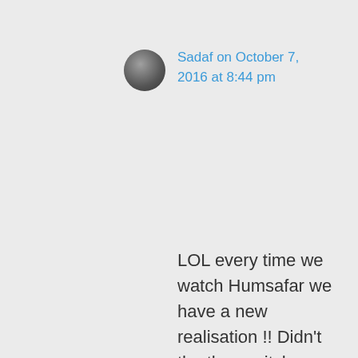[Figure (photo): Circular avatar photo of a person]
Sadaf on October 7, 2016 at 8:44 pm
LOL every time we watch Humsafar we have a new realisation !! Didn’t the three witches have a meeting after throwing Khirad out ?